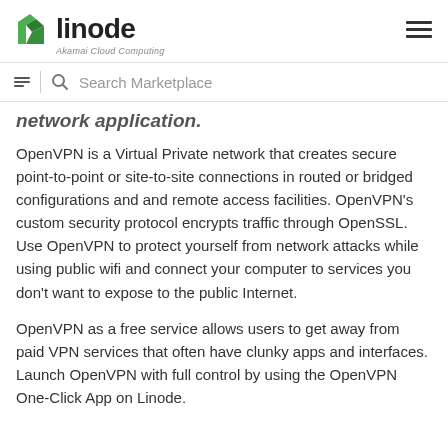linode — Akamai Cloud Computing
Search Marketplace
network application.
OpenVPN is a Virtual Private network that creates secure point-to-point or site-to-site connections in routed or bridged configurations and and remote access facilities. OpenVPN's custom security protocol encrypts traffic through OpenSSL. Use OpenVPN to protect yourself from network attacks while using public wifi and connect your computer to services you don't want to expose to the public Internet.
OpenVPN as a free service allows users to get away from paid VPN services that often have clunky apps and interfaces. Launch OpenVPN with full control by using the OpenVPN One-Click App on Linode.